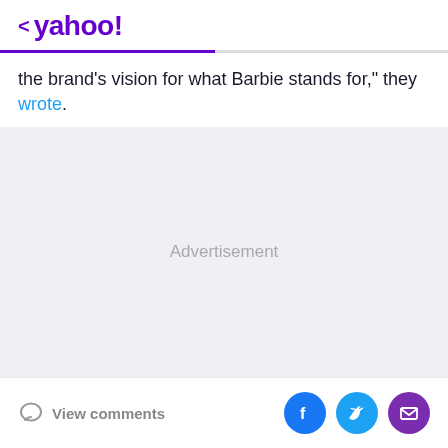< yahoo!
the brand's vision for what Barbie stands for," they wrote.
[Figure (other): Advertisement placeholder area with light gray background]
View comments | Facebook share | Twitter share | Email share